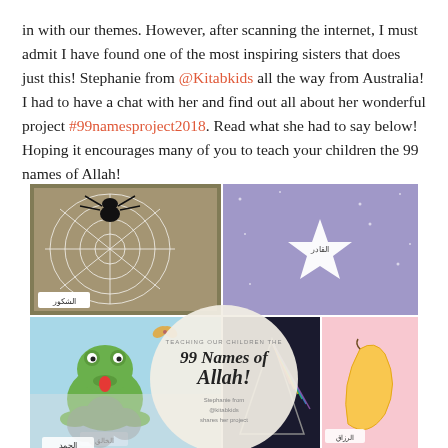in with our themes. However, after scanning the internet, I must admit I have found one of the most inspiring sisters that does just this! Stephanie from @Kitabkids all the way from Australia! I had to have a chat with her and find out all about her wonderful project #99namesproject2018. Read what she had to say below! Hoping it encourages many of you to teach your children the 99 names of Allah!
[Figure (photo): A collage of children's artwork illustrating the 99 names of Allah, including a spider web drawing, a watercolor starburst, a frog illustration, a rainbow prism artwork, a banana illustration, and a cloud drawing. A circular overlay reads 'TEACHING OUR CHILDREN THE 99 Names of Allah! Stephanie from @kitabkids shares her project'.]